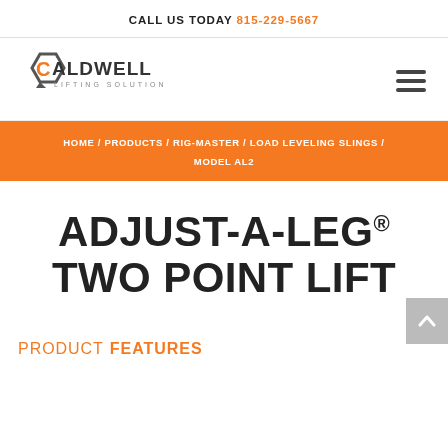CALL US TODAY 815-229-5667
[Figure (logo): Caldwell Lifting Solutions logo with orange and dark gray hexagon emblem]
HOME / PRODUCTS / RIG-MASTER / LOAD LEVELING SLINGS / MODEL AL2
ADJUST-A-LEG® TWO POINT LIFT
PRODUCT FEATURES